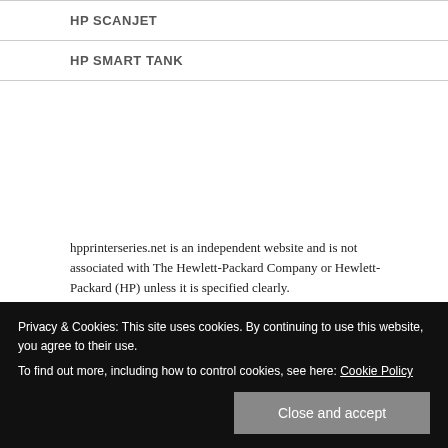HP SCANJET
HP SMART TANK
hpprinterseries.net is an independent website and is not associated with The Hewlett-Packard Company or Hewlett-Packard (HP) unless it is specified clearly.
Privacy & Cookies: This site uses cookies. By continuing to use this website, you agree to their use.
To find out more, including how to control cookies, see here: Cookie Policy
Close and accept